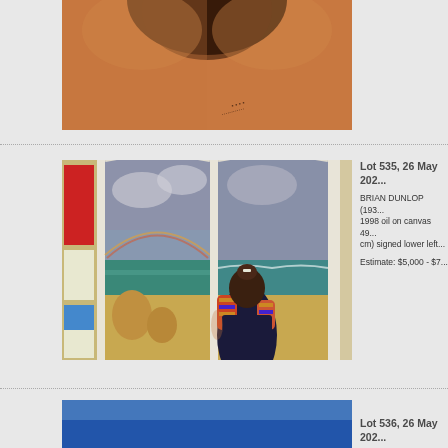[Figure (photo): Partial view of a painting showing orange/skin tone background with dark shadowing, bottom portion visible with some script markings]
Lot 535, 26 May 202...
[Figure (photo): Painting by Brian Dunlop showing a woman in a colorful top standing at a window overlooking a beach scene with turquoise water, sandy rocks, and stormy sky with a rainbow]
BRIAN DUNLOP (193... 1998 oil on canvas 49... cm) signed lower left...
Estimate: $5,000 - $7...
[Figure (photo): Partial view of another painting showing blue tones at the bottom of the page]
Lot 536, 26 May 202...